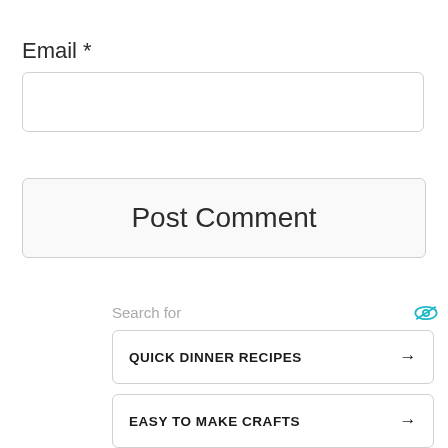Email *
[Figure (screenshot): Empty email input text field with rounded border]
[Figure (screenshot): Post Comment button with rounded border]
Search for
QUICK DINNER RECIPES →
EASY TO MAKE CRAFTS →
ELEGANT EVENING GOWNS →
PARTY APPETIZER IDEAS →
Why are Hamsters so Cute? No compatible source was found for this